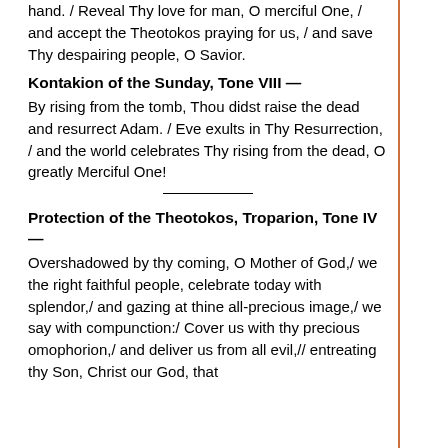hand. / Reveal Thy love for man, O merciful One, / and accept the Theotokos praying for us, / and save Thy despairing people, O Savior.
Kontakion of the Sunday, Tone VIII —
By rising from the tomb, Thou didst raise the dead and resurrect Adam. / Eve exults in Thy Resurrection, / and the world celebrates Thy rising from the dead, O greatly Merciful One!
Protection of the Theotokos, Troparion, Tone IV —
Overshadowed by thy coming, O Mother of God,/ we the right faithful people, celebrate today with splendor,/ and gazing at thine all-precious image,/ we say with compunction:/ Cover us with thy precious omophorion,/ and deliver us from all evil,// entreating thy Son, Christ our God, that